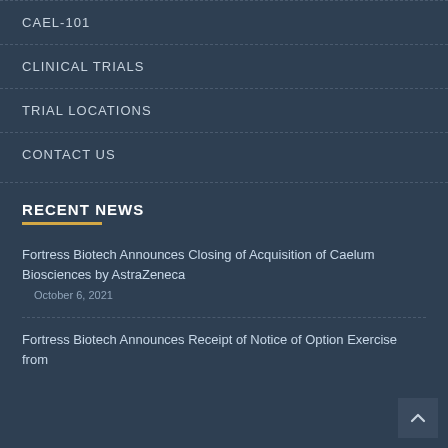CAEL-101
CLINICAL TRIALS
TRIAL LOCATIONS
CONTACT US
RECENT NEWS
Fortress Biotech Announces Closing of Acquisition of Caelum Biosciences by AstraZeneca
October 6, 2021
Fortress Biotech Announces Receipt of Notice of Option Exercise from